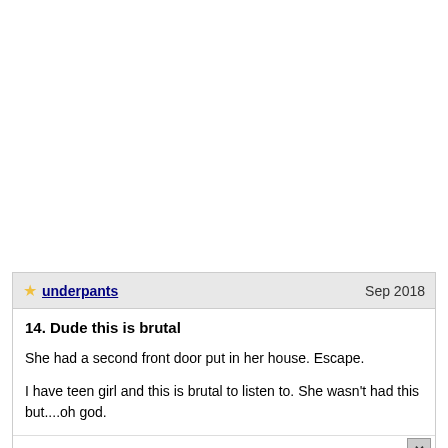underpants   Sep 2018
14. Dude this is brutal
She had a second front door put in her house. Escape.
I have teen girl and this is brutal to listen to. She wasn't had this but....oh god.